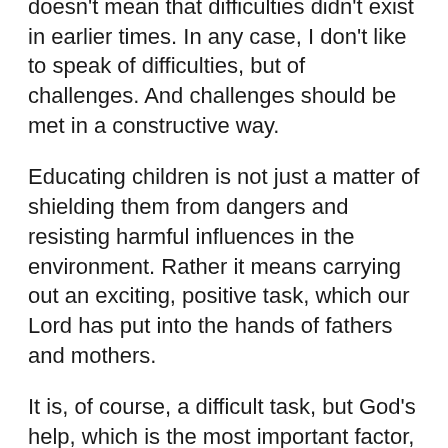doesn't mean that difficulties didn't exist in earlier times. In any case, I don't like to speak of difficulties, but of challenges. And challenges should be met in a constructive way.
Educating children is not just a matter of shielding them from dangers and resisting harmful influences in the environment. Rather it means carrying out an exciting, positive task, which our Lord has put into the hands of fathers and mothers.
It is, of course, a difficult task, but God's help, which is the most important factor, is never lacking to anyone who asks for it in prayer. How often it has been precisely the spur of their responsibility for the education of their